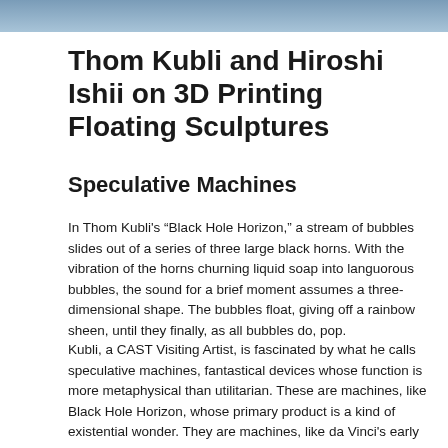[Figure (photo): Header image showing a blurred/abstract background in blue-grey tones at the top of the page]
Thom Kubli and Hiroshi Ishii on 3D Printing Floating Sculptures
Speculative Machines
In Thom Kubli’s “Black Hole Horizon,” a stream of bubbles slides out of a series of three large black horns. With the vibration of the horns churning liquid soap into languorous bubbles, the sound for a brief moment assumes a three-dimensional shape. The bubbles float, giving off a rainbow sheen, until they finally, as all bubbles do, pop.
Kubli, a CAST Visiting Artist, is fascinated by what he calls speculative machines, fantastical devices whose function is more metaphysical than utilitarian. These are machines, like Black Hole Horizon, whose primary product is a kind of existential wonder. They are machines, like da Vinci’s early sketches of flying contraptions, which question the basic assumptions–such as the force of gravity–of the